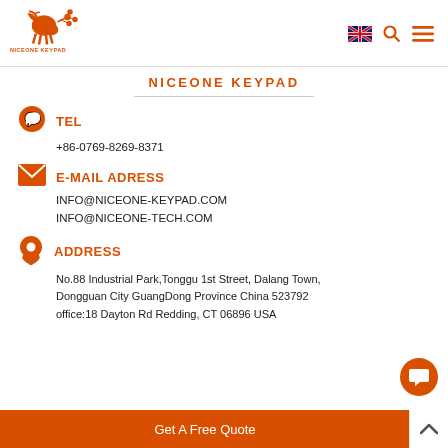[Figure (logo): NiceOne Keypad logo - deer/electronic icon in orange with text NICEONE KEYPAD below]
NICEONE KEYPAD
TEL
+86-0769-8269-8371
E-MAIL ADRESS
INFO@NICEONE-KEYPAD.COM
INFO@NICEONE-TECH.COM
ADDRESS
No.88 Industrial Park,Tonggu 1st Street, Dalang Town, Dongguan City GuangDong Province China 523792 office:18 Dayton Rd Redding, CT 06896 USA
Get A Free Quote